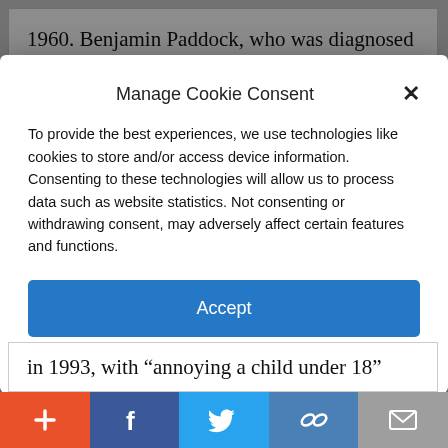1960. Benjamin Paddock, who was diagnosed as psychopathic, died in 1998.
The man who shot hundreds of people
Manage Cookie Consent
To provide the best experiences, we use technologies like cookies to store and/or access device information. Consenting to these technologies will allow us to process data such as website statistics. Not consenting or withdrawing consent, may adversely affect certain features and functions.
Accept
Cookie Policy  Privacy Policy
in 1993, with “annoying a child under 18”
[Figure (screenshot): Share bar at bottom with five buttons: plus (orange), Facebook (dark blue), Twitter (light blue), link/chain (medium blue), email (gray)]